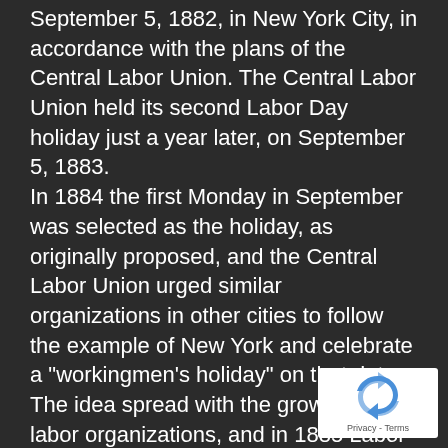September 5, 1882, in New York City, in accordance with the plans of the Central Labor Union. The Central Labor Union held its second Labor Day holiday just a year later, on September 5, 1883. In 1884 the first Monday in September was selected as the holiday, as originally proposed, and the Central Labor Union urged similar organizations in other cities to follow the example of New York and celebrate a "workingmen's holiday" on that date. The idea spread with the growth of labor organizations, and in 1885 Labor Day was celebrated in many industrial centers of the country.
[Figure (logo): Google reCAPTCHA widget with spinning arrows logo and Privacy - Terms text]